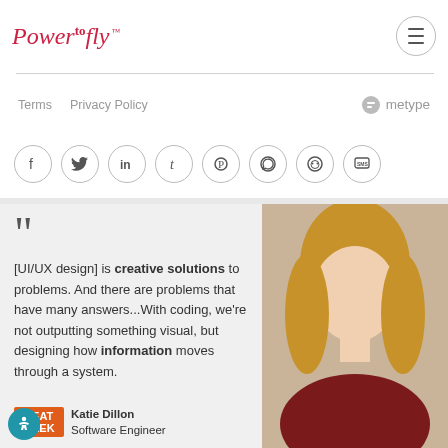PowerToFly™
Terms   Privacy Policy
[Figure (logo): metype logo with speech bubble icon]
[Figure (infographic): Social sharing icons: Facebook, Twitter, LinkedIn, Tumblr, Pinterest, WhatsApp, Reddit, SMS]
[UI/UX design] is creative solutions to problems. And there are problems that have many answers...With coding, we're not outputting something visual, but designing how information moves through a system.
[Figure (photo): Photo of Katie Dillon, a blonde woman smiling, wearing a dark red top]
Katie Dillon
Software Engineer
[Figure (logo): SeatGeek logo - orange text]